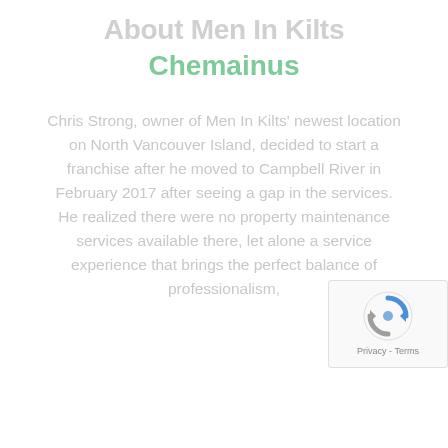About Men In Kilts
Chemainus
Chris Strong, owner of Men In Kilts' newest location on North Vancouver Island, decided to start a franchise after he moved to Campbell River in February 2017 after seeing a gap in the services. He realized there were no property maintenance services available there, let alone a service experience that brings the perfect balance of professionalism,
[Figure (other): reCAPTCHA widget with blue/grey logo icon and Privacy - Terms text]